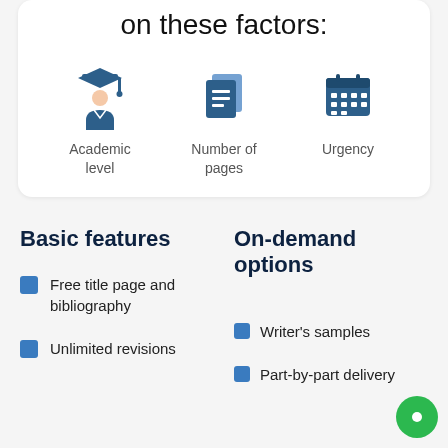on these factors:
[Figure (infographic): Three icons: Academic level (graduation figure), Number of pages (document icon), Urgency (calendar icon)]
Basic features
On-demand options
Free title page and bibliography
Writer's samples
Unlimited revisions
Part-by-part delivery